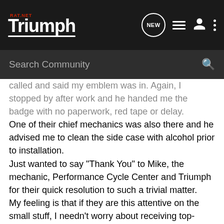TRIUMPH RAT.NET — NEW | List | User | More
Search Community
called and said my emblem was in. Again, I stopped by after work and he handed me the badge with no paperwork, red tape or delay.
One of their chief mechanics was also there and he advised me to clean the side case with alcohol prior to installation.
Just wanted to say "Thank You" to Mike, the mechanic, Performance Cycle Center and Triumph for their quick resolution to such a trivial matter.
My feeling is that if they are this attentive on the small stuff, I needn't worry about receiving top-notch service on any future claims (should they arise).
I've read a few horror stories on this forum about poor service from other dealers and wanted to share my good experience with all of you other riders out there.